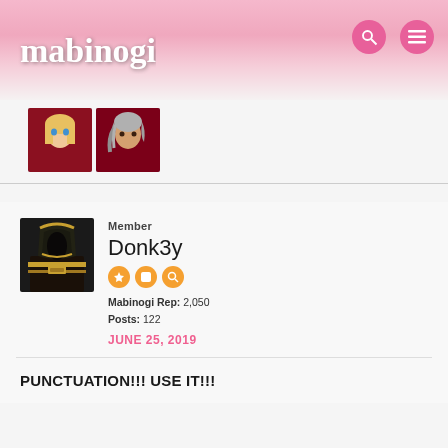mabinogi
[Figure (screenshot): Two small character avatar thumbnails from the Mabinogi game forum]
[Figure (photo): Forum member avatar showing a character in dark armor with helmet]
Member
Donk3y
Mabinogi Rep: 2,050
Posts: 122
JUNE 25, 2019
PUNCTUATION!!! USE IT!!!